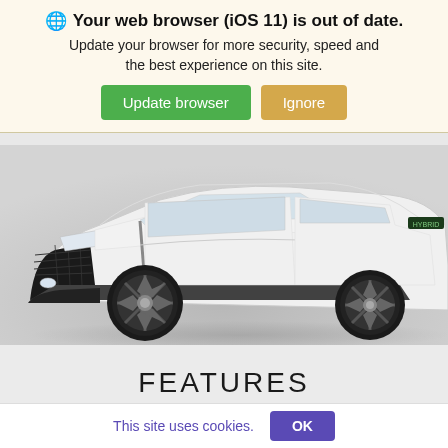🌐 Your web browser (iOS 11) is out of date. Update your browser for more security, speed and the best experience on this site.
Update browser
Ignore
[Figure (photo): Front and side view of a white Lexus SUV (UX hybrid), showing front grille, headlights, wheel, and body panels against a light grey gradient background.]
FEATURES
TECHNOLOGY
PERFORMANCE
COMFORT & DESIGN
This site uses cookies.
OK